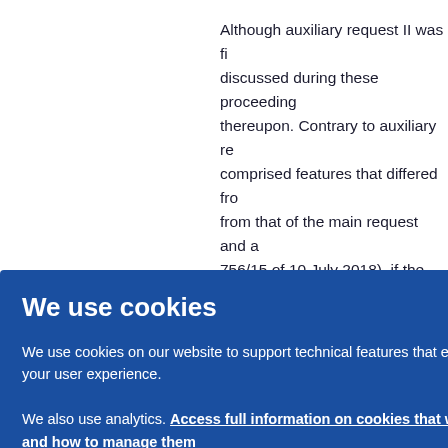Although auxiliary request II was fi... discussed during these proceeding... thereupon. Contrary to auxiliary re... comprised features that differed fro... from that of the main request and a... 756/15 of 10 July 2018), if the boar... 76(1) EPC, it was the respondent's... that auxiliary request II did not cont... statements of grounds of appeal, th...
We use cookies
We use cookies on our website to support technical features that enhance your user experience.
We also use analytics. Access full information on cookies that we use and how to manage them
OK
...uest II... ...ary re... ...y the... summ... ...y the...